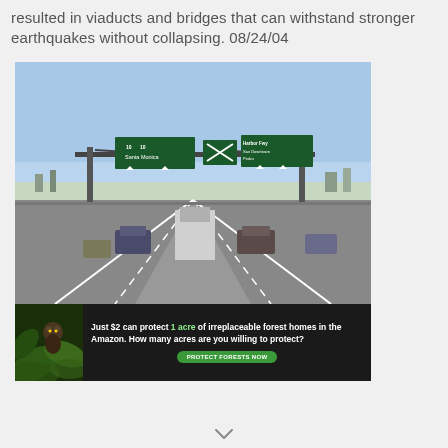resulted in viaducts and bridges that can withstand stronger earthquakes without collapsing. 08/24/04
[Figure (photo): Highway photo showing a multi-lane freeway with overhead green directional signs indicating routes to Santa Monica, San Pedro, Harbor Fwy, Downtown, and other destinations. Multiple vehicles including cars and a truck are visible on the roadway. Below the highway photo is an advertisement banner: 'Just $2 can protect 1 acre of irreplaceable forest homes in the Amazon. How many acres are you willing to protect?' with a 'PROTECT FORESTS NOW' green button.]